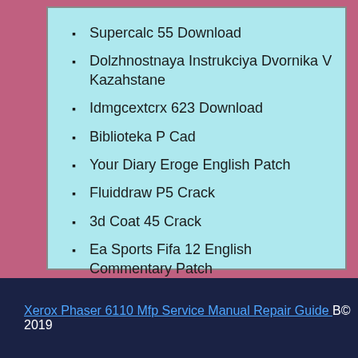Supercalc 55 Download
Dolzhnostnaya Instrukciya Dvornika V Kazahstane
Idmgcextcrx 623 Download
Biblioteka P Cad
Your Diary Eroge English Patch
Fluiddraw P5 Crack
3d Coat 45 Crack
Ea Sports Fifa 12 English Commentary Patch
Woodexpress Serial Number
Xerox Phaser 6110 Mfp Service Manual Repair Guide B© 2019